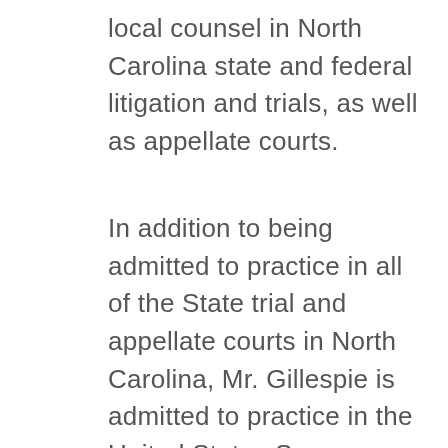local counsel in North Carolina state and federal litigation and trials, as well as appellate courts.
In addition to being admitted to practice in all of the State trial and appellate courts in North Carolina, Mr. Gillespie is admitted to practice in the United States Supreme Court, the United States Court of Appeals for the Fourth Circuit, the United States District Court for the Eastern District of North Carolina, the United States District Court for the Middle District of North Carolina, and the